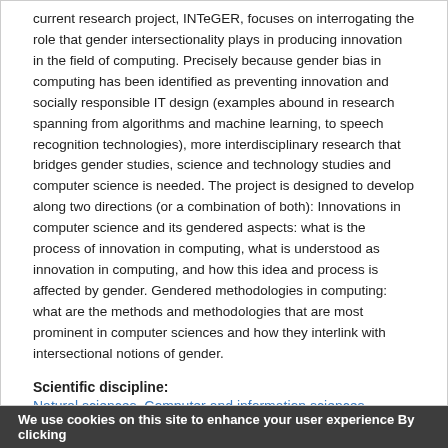current research project, INTeGER, focuses on interrogating the role that gender intersectionality plays in producing innovation in the field of computing. Precisely because gender bias in computing has been identified as preventing innovation and socially responsible IT design (examples abound in research spanning from algorithms and machine learning, to speech recognition technologies), more interdisciplinary research that bridges gender studies, science and technology studies and computer science is needed. The project is designed to develop along two directions (or a combination of both): Innovations in computer science and its gendered aspects: what is the process of innovation in computing, what is understood as innovation in computing, and how this idea and process is affected by gender. Gendered methodologies in computing: what are the methods and methodologies that are most prominent in computer sciences and how they interlink with intersectional notions of gender.
Scientific discipline:
Natural sciences, Computer and information sciences
We use cookies on this site to enhance your user experience By clicking